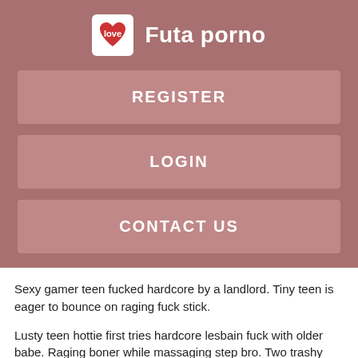Futa porno
REGISTER
LOGIN
CONTACT US
Sexy gamer teen fucked hardcore by a landlord. Tiny teen is eager to bounce on raging fuck stick.
Lusty teen hottie first tries hardcore lesbain fuck with older babe. Raging boner while massaging step bro. Two trashy whores Layla Rivera and Estrella Flores fuck ragingly in a threesome. Fresh teen hottie gets an joy of hardcore fuck.
Hardcore fucking with Khloe a bitchy teen and her neighbor.